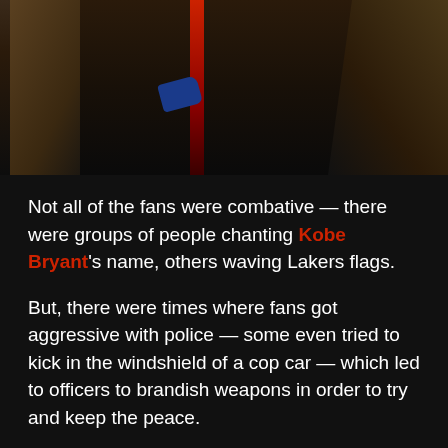[Figure (photo): Dark nighttime scene showing firefighters or emergency responders working around what appears to be a stretcher or gurney. A red metal pole/bar is visible in the center. One figure appears to be wearing blue gloves.]
Not all of the fans were combative — there were groups of people chanting Kobe Bryant's name, others waving Lakers flags.
But, there were times where fans got aggressive with police — some even tried to kick in the windshield of a cop car — which led to officers to brandish weapons in order to try and keep the peace.
We've seen footage from the celebration of fans fighting in the streets, looting a Starbucks and setting